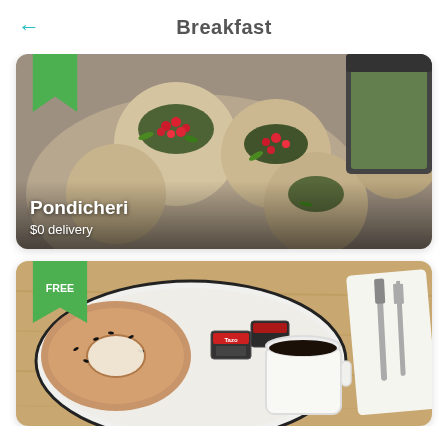Breakfast
[Figure (photo): Food delivery app card showing pomegranate stuffed bread rolls (pani puri) with green herbs, restaurant name Pondicheri, $0 delivery, green bookmark tag in top-left corner]
[Figure (photo): Food delivery app card showing bagels with cream cheese and jam packets, a cup of coffee, cutlery on a napkin, FREE delivery tag in green bookmark in top-left corner]